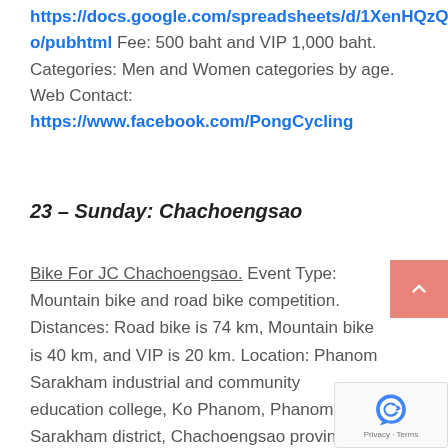https://docs.google.com/spreadsheets/d/1XenHQzQS4O4mifMv2C3tfXsIRu3JrO-o/pubhtml Fee: 500 baht and VIP 1,000 baht. Categories: Men and Women categories by age. Web Contact: https://www.facebook.com/PongCycling
23 – Sunday: Chachoengsao
Bike For JC Chachoengsao. Event Type: Mountain bike and road bike competition. Distances: Road bike is 74 km, Mountain bike is 40 km, and VIP is 20 km. Location: Phanom Sarakham industrial and community education college, Ko Phanom, Phanom Sarakham district, Chachoengsao province. Registration: Register online at